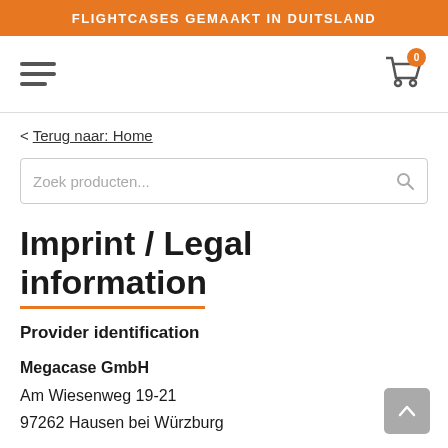FLIGHTCASES GEMAAKT IN DUITSLAND
[Figure (screenshot): Navigation bar with hamburger menu on left and shopping cart icon with badge '0' on right]
< Terug naar: Home
[Figure (screenshot): Search input field with placeholder 'Zoek producten...' and search icon]
Imprint / Legal information
Provider identification
Megacase GmbH
Am Wiesenweg 19-21
97262 Hausen bei Würzburg